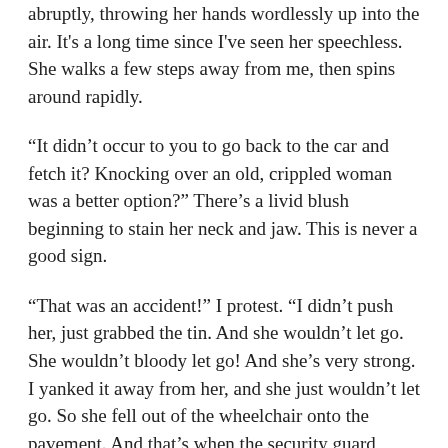abruptly, throwing her hands wordlessly up into the air. It's a long time since I've seen her speechless. She walks a few steps away from me, then spins around rapidly.
“It didn’t occur to you to go back to the car and fetch it? Knocking over an old, crippled woman was a better option?” There’s a livid blush beginning to stain her neck and jaw. This is never a good sign.
“That was an accident!” I protest. “I didn’t push her, just grabbed the tin. And she wouldn’t let go. She wouldn’t bloody let go! And she’s very strong. I yanked it away from her, and she just wouldn’t let go. So she fell out of the wheelchair onto the pavement. And that’s when the security guard grabbed me. It’s not like the last time, I promise.”
“Bloody right, it isn’t,” she says, walking over to the